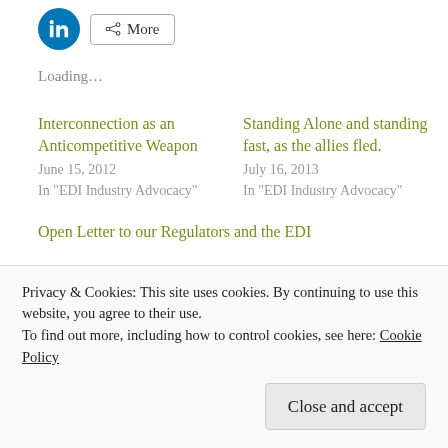[Figure (other): LinkedIn share button (blue circle with 'in' icon) and a 'More' share button]
Loading...
Interconnection as an Anticompetitive Weapon
June 15, 2012
In "EDI Industry Advocacy"
Standing Alone and standing fast, as the allies fled.
July 16, 2013
In "EDI Industry Advocacy"
Open Letter to our Regulators and the EDI
Privacy & Cookies: This site uses cookies. By continuing to use this website, you agree to their use.
To find out more, including how to control cookies, see here: Cookie Policy
Close and accept